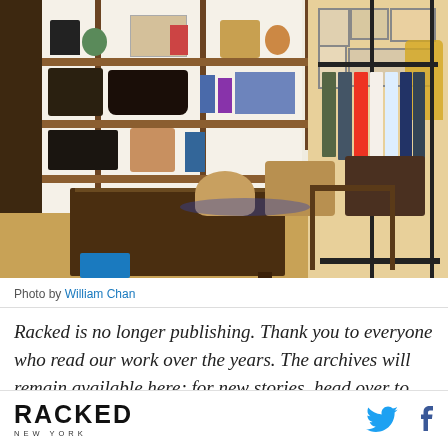[Figure (photo): Interior of a retail shop showing wooden shelves with bags, books, and accessories on the left wall, a dark wooden drop-leaf table in the center, wicker baskets on the floor, and a clothing rack with hanging shirts on the right side. Warm wood tones throughout with a hardwood floor.]
Photo by William Chan
Racked is no longer publishing. Thank you to everyone who read our work over the years. The archives will remain available here; for new stories, head over to Vox.com, where
RACKED NEW YORK